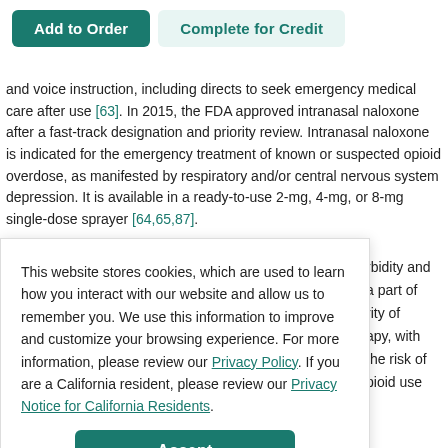[Figure (screenshot): Two buttons: 'Add to Order' (teal, filled) and 'Complete for Credit' (light teal, outlined)]
and voice instruction, including directs to seek emergency medical care after use [63]. In 2015, the FDA approved intranasal naloxone after a fast-track designation and priority review. Intranasal naloxone is indicated for the emergency treatment of known or suspected opioid overdose, as manifested by respiratory and/or central nervous system depression. It is available in a ready-to-use 2-mg, 4-mg, or 8-mg single-dose sprayer [64,65,87].
This website stores cookies, which are used to learn how you interact with our website and allow us to remember you. We use this information to improve and customize your browsing experience. For more information, please review our Privacy Policy. If you are a California resident, please review our Privacy Notice for California Residents.
[Figure (screenshot): Accept button (teal, filled)]
rbidity and a part of rity of apy, with the risk of pioid use
[20,66].